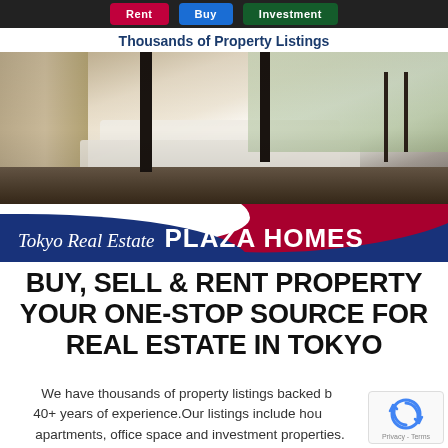[Figure (screenshot): Navigation bar with Rent, Buy, Investment buttons on dark background]
Thousands of Property Listings
[Figure (photo): Interior of a modern luxury apartment/property with white sofas, dark flooring, large windows with garden view, and stone wall feature]
Tokyo Real Estate  PLAZA HOMES
BUY, SELL & RENT PROPERTY YOUR ONE-STOP SOURCE FOR REAL ESTATE IN TOKYO
We have thousands of property listings backed by 40+ years of experience. Our listings include houses, apartments, office space and investment properties.